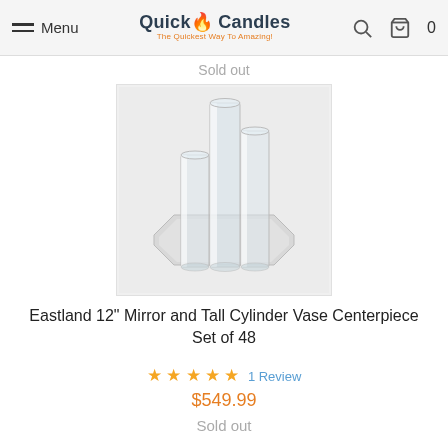Menu | Quick Candles - The Quickest Way To Amazing! | Search | Cart 0
Sold out
[Figure (photo): Three tall clear glass cylinder vases of varying heights arranged on an octagonal mirror base, product photo on light gray background]
Eastland 12" Mirror and Tall Cylinder Vase Centerpiece Set of 48
★★★★★ 1 Review
$549.99
Sold out